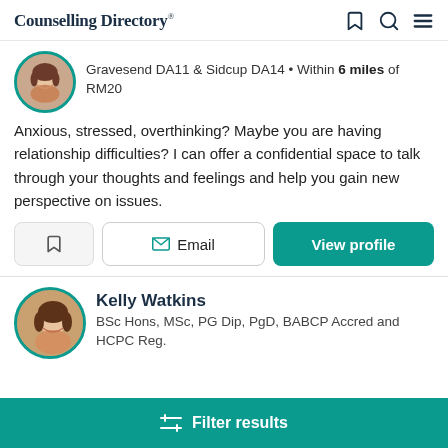Counselling Directory
Gravesend DA11 & Sidcup DA14 • Within 6 miles of RM20
Anxious, stressed, overthinking? Maybe you are having relationship difficulties? I can offer a confidential space to talk through your thoughts and feelings and help you gain new perspective on issues.
Email | View profile
Kelly Watkins
BSc Hons, MSc, PG Dip, PgD, BABCP Accred and HCPC Reg.
Filter results